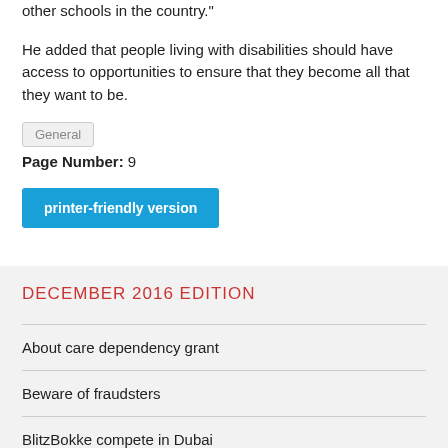other schools in the country."
He added that people living with disabilities should have access to opportunities to ensure that they become all that they want to be.
General
Page Number: 9
printer-friendly version
DECEMBER 2016 EDITION
About care dependency grant
Beware of fraudsters
BlitzBokke compete in Dubai